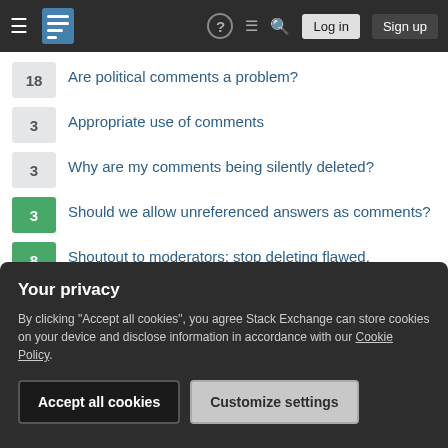Stack Exchange navigation bar with logo, help, inbox, search, Log in, Sign up
18 — Are political comments a problem?
3 — Appropriate use of comments
3 — Why are my comments being silently deleted?
3 — Should we allow unreferenced answers as comments?
8 — Shoutout to moderators: stop deleting flawed, downvoted and wrong on-topic answers
1 — Do the community sometimes need to redirect *all* comments to chat?
Your privacy
By clicking "Accept all cookies", you agree Stack Exchange can store cookies on your device and disclose information in accordance with our Cookie Policy.
[Accept all cookies] [Customize settings]
transportation or accommodation?